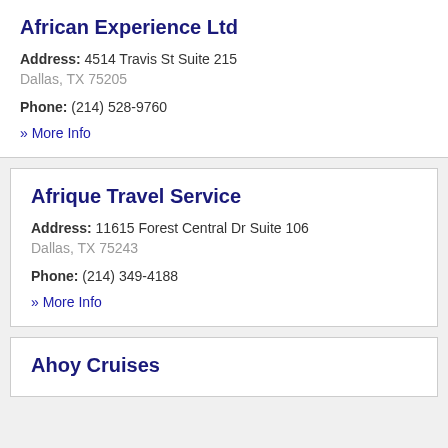African Experience Ltd
Address: 4514 Travis St Suite 215 Dallas, TX 75205
Phone: (214) 528-9760
» More Info
Afrique Travel Service
Address: 11615 Forest Central Dr Suite 106 Dallas, TX 75243
Phone: (214) 349-4188
» More Info
Ahoy Cruises